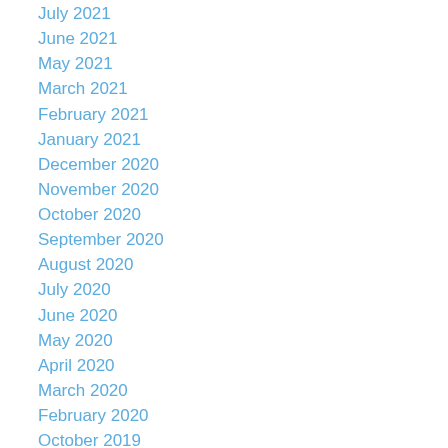July 2021
June 2021
May 2021
March 2021
February 2021
January 2021
December 2020
November 2020
October 2020
September 2020
August 2020
July 2020
June 2020
May 2020
April 2020
March 2020
February 2020
October 2019
September 2019
August 2019